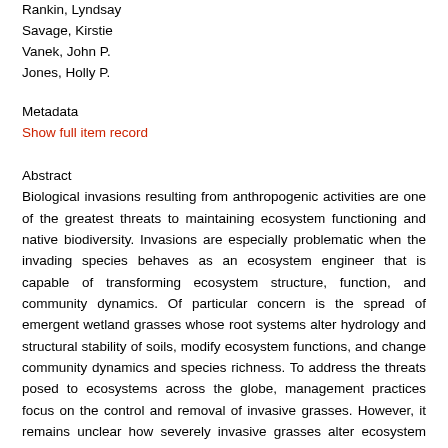Rankin, Lyndsay
Savage, Kirstie
Vanek, John P.
Jones, Holly P.
Metadata
Show full item record
Abstract
Biological invasions resulting from anthropogenic activities are one of the greatest threats to maintaining ecosystem functioning and native biodiversity. Invasions are especially problematic when the invading species behaves as an ecosystem engineer that is capable of transforming ecosystem structure, function, and community dynamics. Of particular concern is the spread of emergent wetland grasses whose root systems alter hydrology and structural stability of soils, modify ecosystem functions, and change community dynamics and species richness. To address the threats posed to ecosystems across the globe, management practices focus on the control and removal of invasive grasses. However, it remains unclear how severely invasive grasses alter ecosystem functions and whether alterations persist after invasive grass removal, limiting our ability to determine if